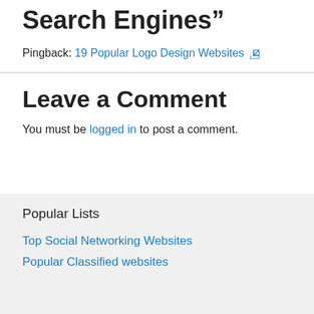Search Engines”
Pingback: 19 Popular Logo Design Websites ⧉
Leave a Comment
You must be logged in to post a comment.
Popular Lists
Top Social Networking Websites
Popular Classified websites